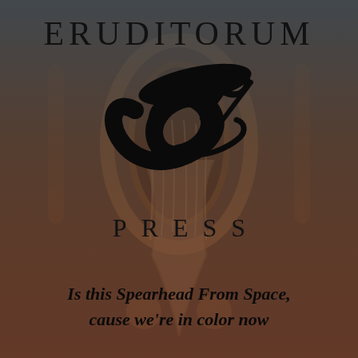[Figure (logo): Eruditorum Press logo page with stylized EP calligraphic monogram, text ERUDITORUM at top, PRESS below in spaced capitals, over a dark reddish-brown background with gothic art. Tagline at bottom: Is this Spearhead From Space, cause we're in color now]
ERUDITORUM
PRESS
Is this Spearhead From Space, cause we're in color now